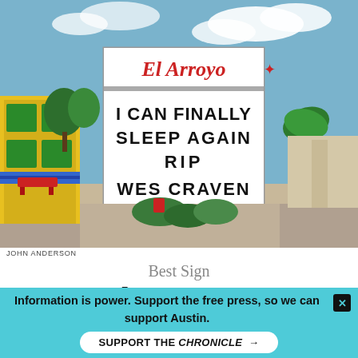[Figure (photo): Photo of El Arroyo restaurant sign reading 'I CAN FINALLY SLEEP AGAIN RIP WES CRAVEN' with colorful building in background]
JOHN ANDERSON
Best Sign
El Arroyo
Information is power. Support the free press, so we can support Austin.
SUPPORT THE CHRONICLE →